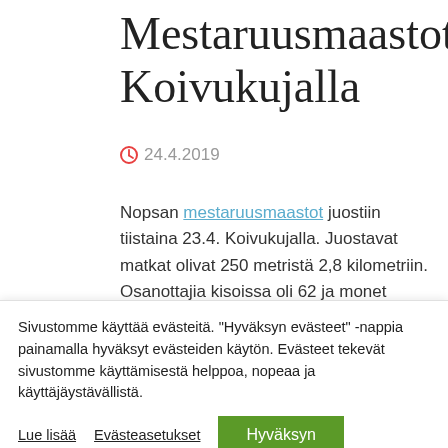Mestaruusmaastot Koivukujalla
24.4.2019
Nopsan mestaruusmaastot juostiin tiistaina 23.4. Koivukujalla. Juostavat matkat olivat 250 metristä 2,8 kilometriin. Osanottajia kisoissa oli 62 ja monet kisaavat lauantaina Parkanon pm-
Sivustomme käyttää evästeitä. “Hyväksyn evästeet” -nappia painamalla hyväksyt evästeiden käytön. Evästeet tekevät sivustomme käyttämisestä helppoa, nopeaa ja käyttäjäystävällistä.